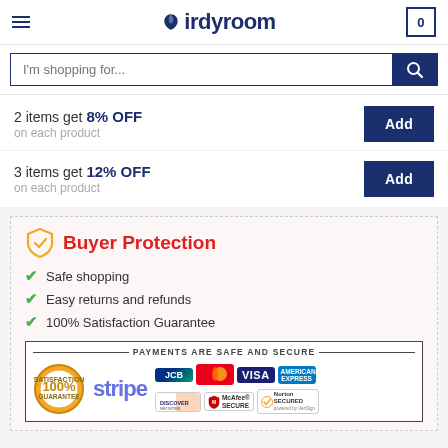Birdyroom — navigation header with hamburger menu, logo, and cart icon
I'm shopping for...
2 items get 8% OFF on each product
3 items get 12% OFF on each product
Buyer Protection
Safe shopping
Easy returns and refunds
100% Satisfaction Guarantee
[Figure (infographic): Payments are safe and secure box showing 100% Satisfaction Guarantee badge, Stripe logo, JCB, Mastercard, Visa, American Express, Discover, McAfee Secure, and Norton Secured logos]